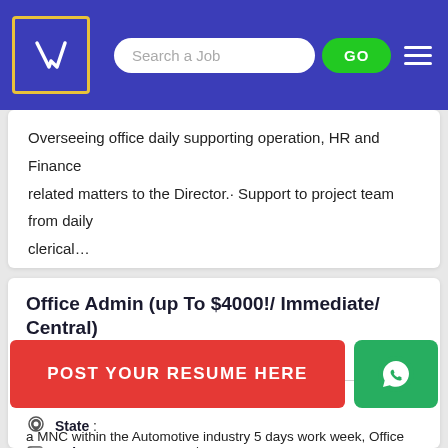[Figure (screenshot): Job listing website header with logo, search bar, GO button, and hamburger menu on blue background]
Overseeing office daily supporting operation, HR and Finance related matters to the Director.· Support to project team from daily clerical...
Office Admin (up To $4000!/ Immediate/ Central)
Adecco Personnel Pte Ltd
Location : Singapore
State :
Industry : Computers / IT
[Figure (infographic): Red POST YOUR RESUME HERE button and green WhatsApp button overlay]
a MNC within the Automotive industry 5 days work week, Office